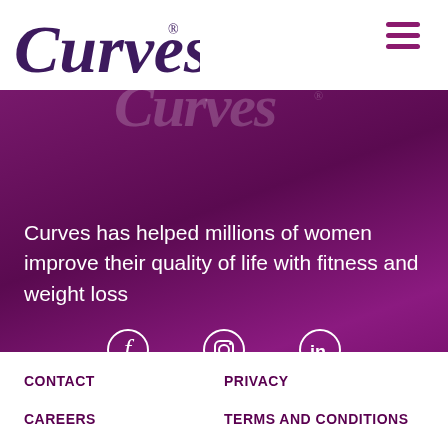[Figure (logo): Curves logo in dark purple italic script font on white background]
[Figure (logo): Curves watermark logo in white transparent italic script on purple background]
Curves has helped millions of women improve their quality of life with fitness and weight loss
[Figure (infographic): Social media icons: Facebook (f), Instagram (camera), LinkedIn (in) in white outline style on purple background]
© 2021 Curves Europe B.V.
CONTACT
PRIVACY
CAREERS
TERMS AND CONDITIONS